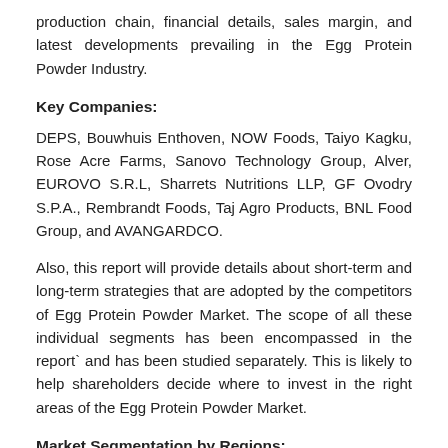production chain, financial details, sales margin, and latest developments prevailing in the Egg Protein Powder Industry.
Key Companies:
DEPS, Bouwhuis Enthoven, NOW Foods, Taiyo Kagku, Rose Acre Farms, Sanovo Technology Group, Alver, EUROVO S.R.L, Sharrets Nutritions LLP, GF Ovodry S.P.A., Rembrandt Foods, Taj Agro Products, BNL Food Group, and AVANGARDCO.
Also, this report will provide details about short-term and long-term strategies that are adopted by the competitors of Egg Protein Powder Market. The scope of all these individual segments has been encompassed in the report` and has been studied separately. This is likely to help shareholders decide where to invest in the right areas of the Egg Protein Powder Market.
Market Segmentation by Regions: